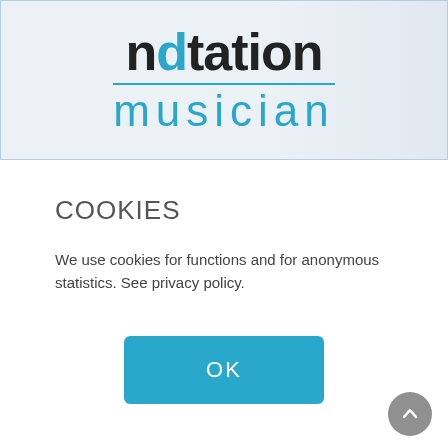[Figure (logo): Notation Musician website logo with 'notation' in bold black text with blue underline and 'd' in blue, and 'musician' in light blue below]
COOKIES
We use cookies for functions and for anonymous statistics. See privacy policy.
OK
reject